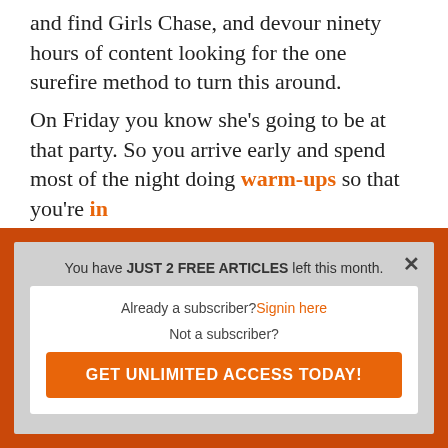and find Girls Chase, and devour ninety hours of content looking for the one surefire method to turn this around.
On Friday you know she's going to be at that party. So you arrive early and spend most of the night doing warm-ups so that you're in
You have JUST 2 FREE ARTICLES left this month.
Already a subscriber? Signin here
Not a subscriber?
GET UNLIMITED ACCESS TODAY!